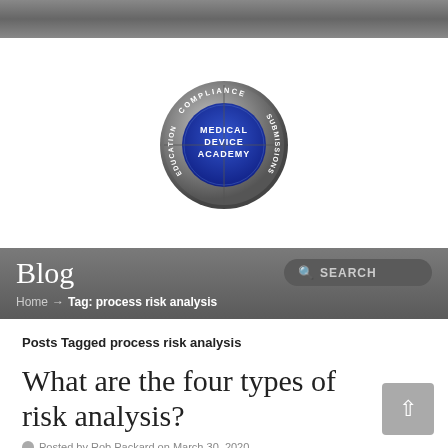[Figure (logo): Medical Device Academy logo — circular badge with outer ring labeled COMPLIANCE, EDUCATION, SUBMISSIONS and blue center reading MEDICAL DEVICE ACADEMY]
Blog
Home → Tag: process risk analysis
Posts Tagged process risk analysis
What are the four types of risk analysis?
Posted by Rob Packard on March 30, 2020